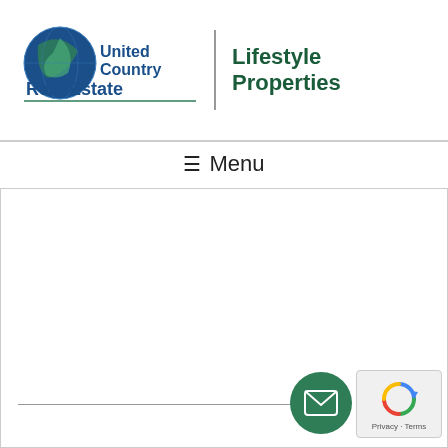[Figure (logo): United Country Real Estate | Lifestyle Properties logo with blue/green globe icon]
≡ Menu
We will never spam you!
[Figure (other): Submit button (green rounded rectangle)]
Your Message
[Figure (other): Email envelope icon in green circle]
[Figure (other): reCAPTCHA widget with Privacy - Terms text]